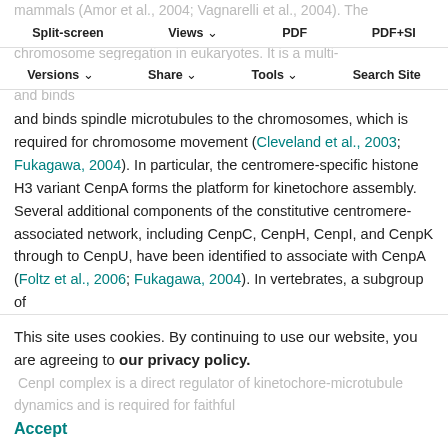mammals (Amor et al., 2004; Vagnarelli et al., 2004). The kinetochore plays a fundamental role in accurate chromosome segregation in eukaryotes. It is a multi-protein structure that associates with centromeric DNA and binds spindle microtubules to the chromosomes, which is required for chromosome movement (Cleveland et al., 2003; Fukagawa, 2004). In particular, the centromere-specific histone H3 variant CenpA forms the platform for kinetochore assembly. Several additional components of the constitutive centromere-associated network, including CenpC, CenpH, CenpI, and CenpK through to CenpU, have been identified to associate with CenpA (Foltz et al., 2006; Fukagawa, 2004). In vertebrates, a subgroup of
Split-screen | Views | PDF | PDF+SI | Versions | Share | Tools | Search Site
osoteins, including CenpH, CenpI and CenpK, play essential roles in kinetochore structure and function. The CenpH and CenpI complex is a direct regulator of kinetochore-microtubule dynamics and is required for faithful
This site uses cookies. By continuing to use our website, you are agreeing to our privacy policy. Accept